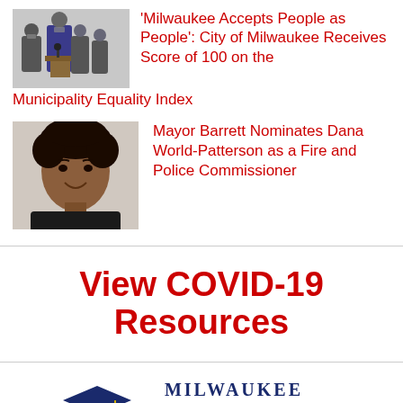[Figure (photo): Press conference photo with several masked people standing at a podium]
'Milwaukee Accepts People as People': City of Milwaukee Receives Score of 100 on the Municipality Equality Index
[Figure (photo): Headshot of Dana World-Patterson, a Black woman smiling]
Mayor Barrett Nominates Dana World-Patterson as a Fire and Police Commissioner
View COVID-19 Resources
[Figure (logo): Milwaukee Courier newspaper logo with graduation cap illustration and tagline 'The Newspaper You Can Trust Since 1964']